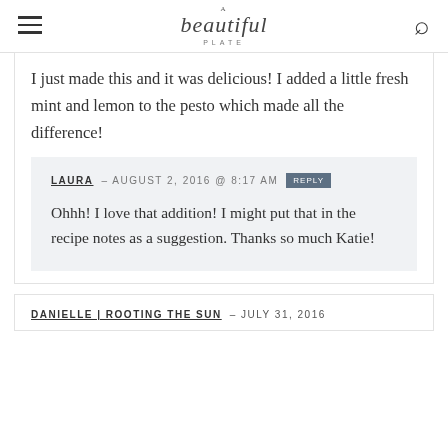A beautiful PLATE
I just made this and it was delicious! I added a little fresh mint and lemon to the pesto which made all the difference!
LAURA – AUGUST 2, 2016 @ 8:17 AM REPLY
Ohhh! I love that addition! I might put that in the recipe notes as a suggestion. Thanks so much Katie!
DANIELLE | ROOTING THE SUN – JULY 31, 2016